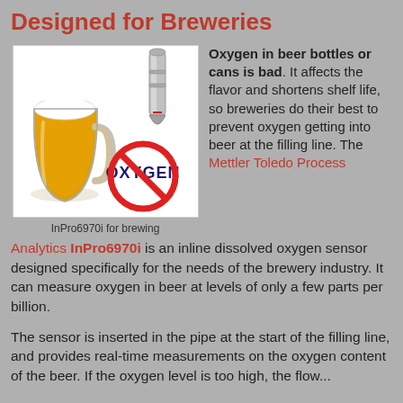Designed for Breweries
[Figure (illustration): Beer mug with foam and a metallic sensor probe, plus a red prohibition circle over the word OXYGEN. Caption: InPro6970i for brewing.]
InPro6970i for brewing
Oxygen in beer bottles or cans is bad. It affects the flavor and shortens shelf life, so breweries do their best to prevent oxygen getting into beer at the filling line. The Mettler Toledo Process Analytics InPro6970i is an inline dissolved oxygen sensor designed specifically for the needs of the brewery industry. It can measure oxygen in beer at levels of only a few parts per billion.
The sensor is inserted in the pipe at the start of the filling line, and provides real-time measurements on the oxygen content of the beer. If the oxygen level is too high, the flow...